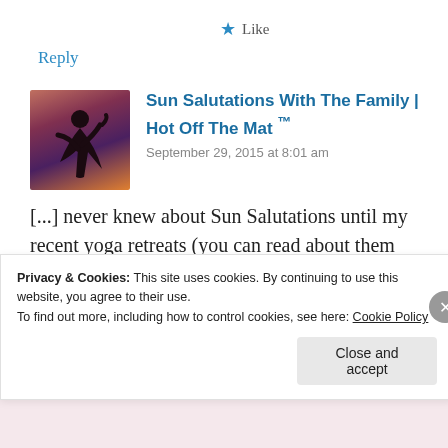★ Like
Reply
[Figure (photo): Avatar image: silhouette of a person doing a yoga pose against a sunset sky background]
Sun Salutations With The Family | Hot Off The Mat ™
September 29, 2015 at 8:01 am
[...] never knew about Sun Salutations until my recent yoga retreats (you can read about them here and here), but I really like them! They are accessible,
Privacy & Cookies: This site uses cookies. By continuing to use this website, you agree to their use.
To find out more, including how to control cookies, see here: Cookie Policy
Close and accept